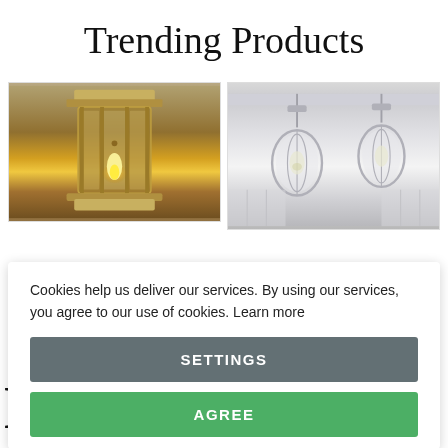Trending Products
[Figure (photo): Two product images side by side: left shows a brass/gold lantern-style lamp close-up with warm glowing light; right shows two glass globe pendant lights hanging from a white ceiling in a home interior]
Cookies help us deliver our services. By using our services, you agree to our use of cookies. Learn more
SETTINGS
AGREE
Mode...